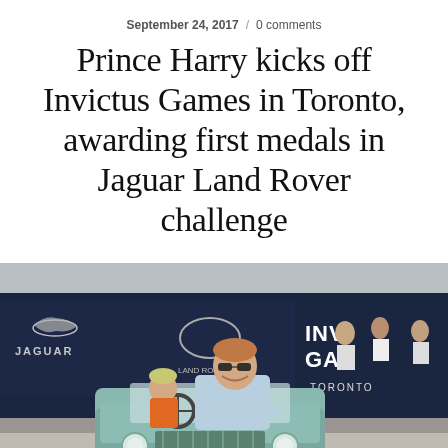September 24, 2017 / 0 comments
Prince Harry kicks off Invictus Games in Toronto, awarding first medals in Jaguar Land Rover challenge
[Figure (photo): Prince Harry riding a miniature light blue Land Rover (license plate HUE 004) with a young child, at the Invictus Games in Toronto. Jaguar Land Rover banners and orange traffic cones visible in background.]